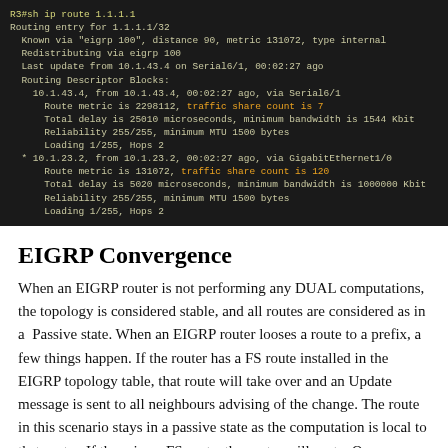[Figure (screenshot): Terminal screenshot showing EIGRP routing table output for 1.1.1.1/32 on router R3, with two routing descriptor blocks via Serial6/1 and GigabitEthernet1/0, with traffic share counts highlighted in orange.]
EIGRP Convergence
When an EIGRP router is not performing any DUAL computations, the topology is considered stable, and all routes are considered as in a  Passive state. When an EIGRP router looses a route to a prefix, a few things happen. If the router has a FS route installed in the EIGRP topology table, that route will take over and an Update message is sent to all neighbours advising of the change. The route in this scenario stays in a passive state as the computation is local to thst router. If there is no FS route, the router will sent a Query message